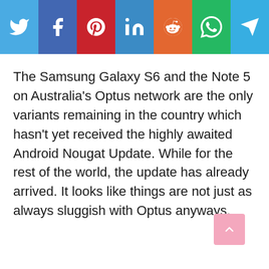[Figure (infographic): Social media share buttons bar: Twitter (light blue), Facebook (dark blue), Pinterest (red), LinkedIn (blue), Reddit (orange), WhatsApp (green), Telegram (light blue)]
The Samsung Galaxy S6 and the Note 5 on Australia's Optus network are the only variants remaining in the country which hasn't yet received the highly awaited Android Nougat Update. While for the rest of the world, the update has already arrived. It looks like things are not just as always sluggish with Optus anyways.
[Figure (illustration): Scroll-to-top button, pink rounded square with upward arrow, bottom right corner]